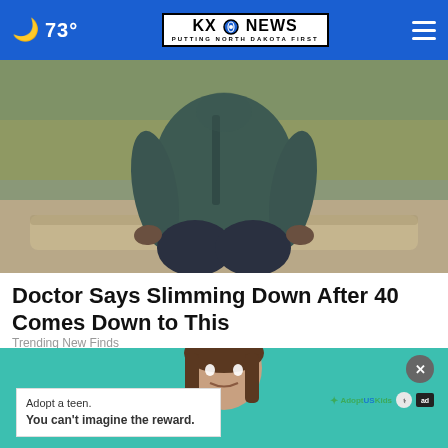🌙 73° | KXO NEWS – PUTTING NORTH DAKOTA FIRST | Menu
[Figure (photo): Person in dark teal jacket and dark leggings sitting on a log outdoors, upper body and torso visible, blurred natural background]
Doctor Says Slimming Down After 40 Comes Down to This
Trending New Finds
[Figure (photo): Advertisement strip showing a young woman's head against a teal background, with an overlay advertisement card reading: Adopt a teen. You can't imagine the reward. AdoptUSKids logo, HHS logo, and ad badge.]